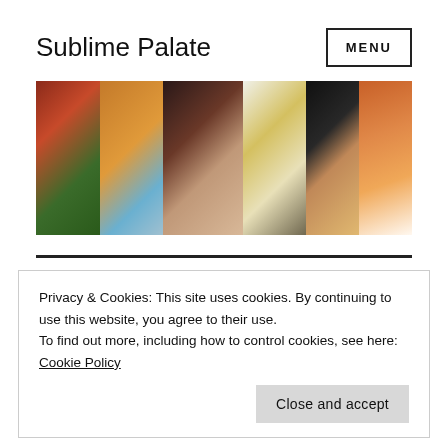Sublime Palate
[Figure (photo): Banner strip of 6 food photographs including spices, curry dishes, tofu cubes, and various Indian food items]
Privacy & Cookies: This site uses cookies. By continuing to use this website, you agree to their use.
To find out more, including how to control cookies, see here: Cookie Policy
Close and accept
Green Curry with Chicken